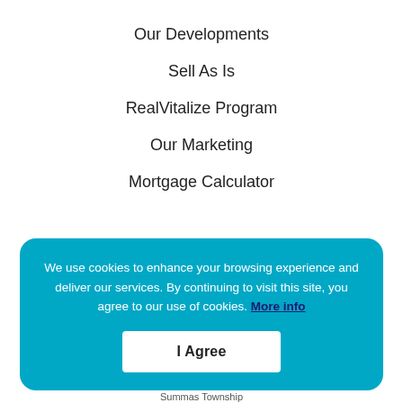Our Developments
Sell As Is
RealVitalize Program
Our Marketing
Mortgage Calculator
We use cookies to enhance your browsing experience and deliver our services. By continuing to visit this site, you agree to our use of cookies. More info
I Agree
Summas Township